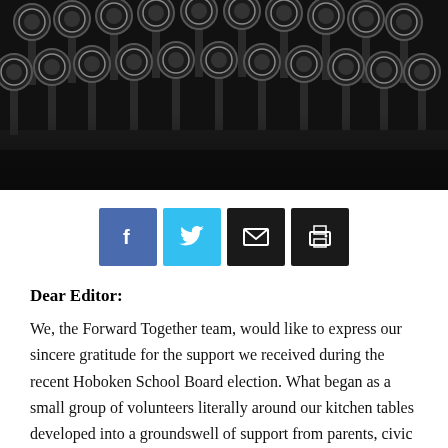[Figure (photo): Close-up black and white photograph of typewriter keys from above]
[Figure (infographic): Social sharing buttons: Facebook (blue), Twitter (cyan), Email (black), Print (black)]
Dear Editor:
We, the Forward Together team, would like to express our sincere gratitude for the support we received during the recent Hoboken School Board election. What began as a small group of volunteers literally around our kitchen tables developed into a groundswell of support from parents, civic leaders, and community members from private, charter and district schools